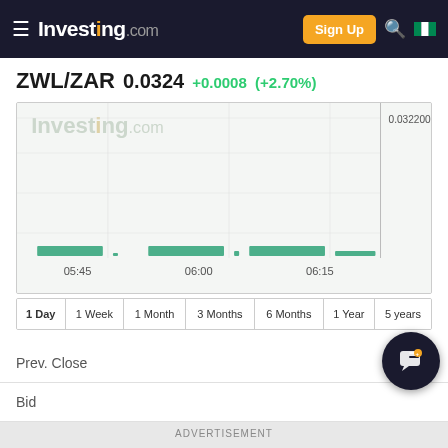Investing.com — Sign Up
ZWL/ZAR  0.0324  +0.0008  (+2.70%)
[Figure (continuous-plot): ZWL/ZAR intraday price chart showing flat/horizontal green bar chart with watermark 'Investing.com'. X-axis shows times 05:45, 06:00, 06:15. Y-axis label shows 0.03220000.]
| Period |
| --- |
| 1 Day |
| 1 Week |
| 1 Month |
| 3 Months |
| 6 Months |
| 1 Year |
| 5 years |
Prev. Close
315
Bid
ADVERTISEMENT